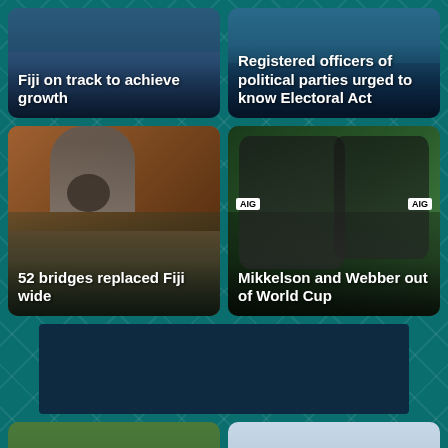[Figure (photo): News card with people in background, teal overlay. Headline: Fiji on track to achieve growth]
Fiji on track to achieve growth
[Figure (photo): News card with dark background. Headline: Registered officers of political parties urged to know Electoral Act]
Registered officers of political parties urged to know Electoral Act
[Figure (photo): News card showing a man in a suit speaking at a podium in parliament. Headline: 52 bridges replaced Fiji wide]
52 bridges replaced Fiji wide
[Figure (photo): News card showing two rugby players in All Blacks jerseys with AIG sponsor badge. Headline: Mikkelson and Webber out of World Cup]
Mikkelson and Webber out of World Cup
[Figure (photo): Dark banner advertisement area]
[Figure (photo): Partial news card bottom left showing green landscape]
[Figure (photo): Partial news card bottom right showing sky/clouds]